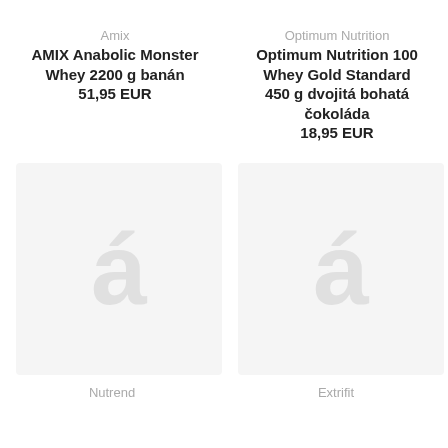Amix
AMIX Anabolic Monster Whey 2200 g banán
51,95 EUR
Optimum Nutrition
Optimum Nutrition 100 Whey Gold Standard 450 g dvojitá bohatá čokoláda
18,95 EUR
[Figure (other): Product placeholder image with decorative letter for Nutrend brand product]
Nutrend
[Figure (other): Product placeholder image with decorative letter for Extrifit brand product]
Extrifit